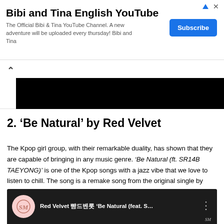[Figure (screenshot): Advertisement banner for Bibi and Tina English YouTube channel with Subscribe button]
[Figure (screenshot): Collapsed video player or content area with chevron up arrow and black bar]
2. ‘Be Natural’ by Red Velvet
The Kpop girl group, with their remarkable duality, has shown that they are capable of bringing in any music genre. ‘Be Natural (ft. SR14B TAEYONG)’ is one of the Kpop songs with a jazz vibe that we love to listen to chill. The song is a remake song from the original single by S.E.S.
[Figure (screenshot): YouTube video thumbnail for Red Velvet 레드벨벳 'Be Natural (feat. S...' with SM Entertainment logo]